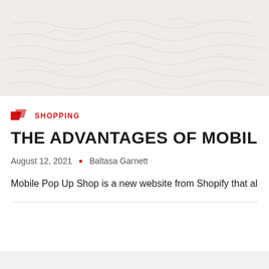[Figure (illustration): Hero banner image with a light beige/cream textured background showing faint handwritten script or cursive text pattern.]
SHOPPING
THE ADVANTAGES OF MOBILE POP UP S
August 12, 2021 · Baltasa Garnett
Mobile Pop Up Shop is a new website from Shopify that all